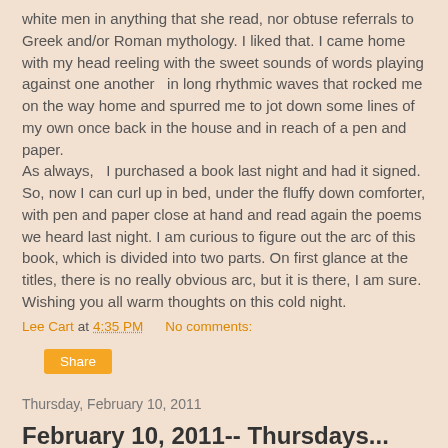white men in anything that she read, nor obtuse referrals to Greek and/or Roman mythology. I liked that. I came home with my head reeling with the sweet sounds of words playing against one another  in long rhythmic waves that rocked me on the way home and spurred me to jot down some lines of my own once back in the house and in reach of a pen and paper.
As always,  I purchased a book last night and had it signed. So, now I can curl up in bed, under the fluffy down comforter, with pen and paper close at hand and read again the poems we heard last night. I am curious to figure out the arc of this book, which is divided into two parts. On first glance at the titles, there is no really obvious arc, but it is there, I am sure. Wishing you all warm thoughts on this cold night.
Lee Cart at 4:35 PM    No comments:
Share
Thursday, February 10, 2011
February 10, 2011-- Thursdays...